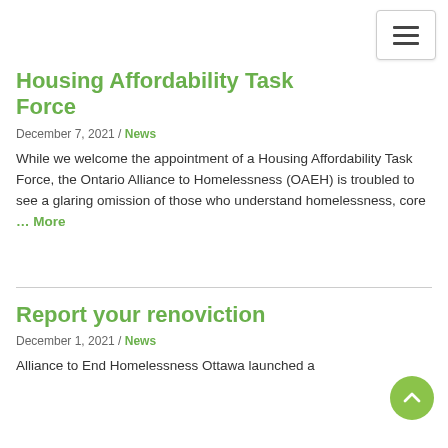Navigation menu button
Housing Affordability Task Force
December 7, 2021 / News
While we welcome the appointment of a Housing Affordability Task Force, the Ontario Alliance to Homelessness (OAEH) is troubled to see a glaring omission of those who understand homelessness, core … More
Report your renoviction
December 1, 2021 / News
Alliance to End Homelessness Ottawa launched a